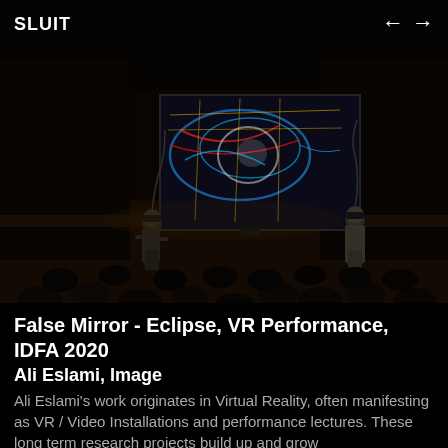SLUIT
[Figure (photo): Theater stage scene viewed from audience seating. Two people wearing VR headsets stand on a dark stage, one on the left and one on the right. Between them, a large projection screen displays a colorful VR/digital art image with neon blue, red, and yellow wireframe/abstract graphics. Audience silhouettes are visible in the foreground.]
False Mirror - Eclipse, VR Performance, IDFA 2020
Ali Eslami, Image
Ali Eslami's work originates in Virtual Reality, often manifesting as VR / Video Installations and performance lectures. These long term research projects build up and grow...